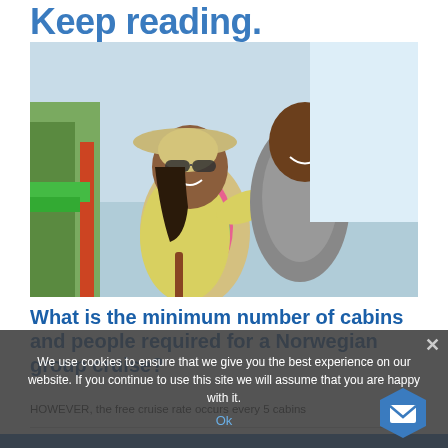Keep reading.
[Figure (photo): A smiling couple embracing outdoors near water; woman wearing a wide-brim hat and yellow jacket, man in grey t-shirt]
What is the minimum number of cabins and people required for a Norwegian group cruise?
HOWEVER, the free cruise rate occurs every 5 cabins
We use cookies to ensure that we give you the best experience on our website. If you continue to use this site we will assume that you are happy with it.
Ok